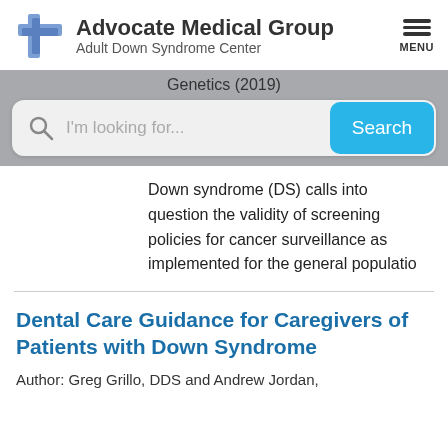[Figure (logo): Advocate Medical Group Adult Down Syndrome Center logo with blue cross emblem]
Genetics (2019)
[Figure (screenshot): Search bar with placeholder text 'I'm looking for...' and a blue Search button]
Down syndrome (DS) calls into question the validity of screening policies for cancer surveillance as implemented for the general populatio
Dental Care Guidance for Caregivers of Patients with Down Syndrome
Author: Greg Grillo, DDS and Andrew Jordan,